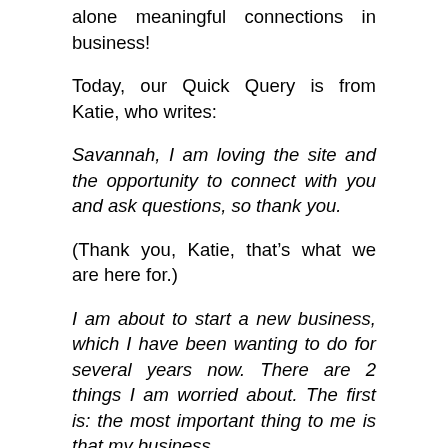alone meaningful connections in business!
Today, our Quick Query is from Katie, who writes:
Savannah, I am loving the site and the opportunity to connect with you and ask questions, so thank you.
(Thank you, Katie, that’s what we are here for.)
I am about to start a new business, which I have been wanting to do for several years now. There are 2 things I am worried about. The first is: the most important thing to me is that my business